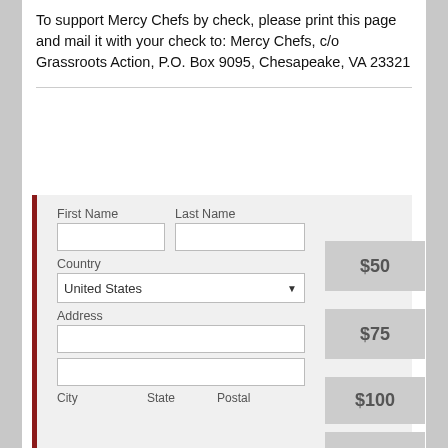To support Mercy Chefs by check, please print this page and mail it with your check to: Mercy Chefs, c/o Grassroots Action, P.O. Box 9095, Chesapeake, VA 23321
[Figure (other): A donation form with fields for First Name, Last Name, Country (United States dropdown), Address (two lines), City, State, Postal, and amount buttons for $50, $75, $100, $105 on the right side. The form has a dark red left border.]